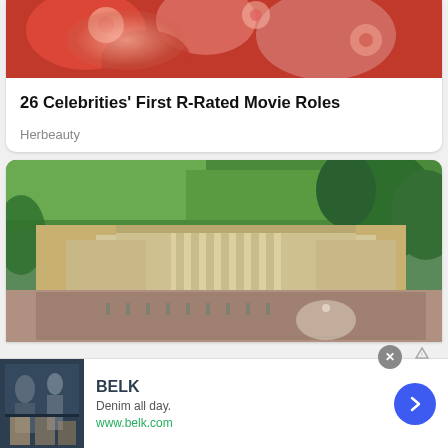[Figure (photo): Partial top of an image showing what appears to be a person in a red/pink floral outfit — cropped at top of page]
26 Celebrities' First R-Rated Movie Roles
Herbeauty
[Figure (photo): Aerial photograph of Buckingham Palace surrounded by large crowds, green parks and trees visible in background]
[Figure (screenshot): Advertisement banner for BELK. Shows thumbnail image of clothing/people on left, BELK brand name in bold, 'Denim all day.' tagline, www.belk.com URL in green, blue circular arrow button on right. Close X button visible top right of ad.]